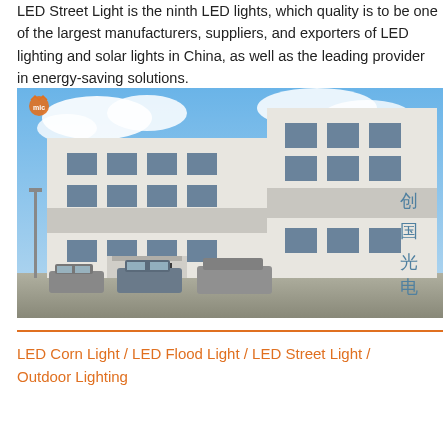LED Street Light is the ninth LED lights, which quality is to be one of the largest manufacturers, suppliers, and exporters of LED lighting and solar lights in China, as well as the leading provider in energy-saving solutions.
[Figure (photo): Exterior photo of a multi-story white commercial/industrial building with Chinese characters on the facade reading 创国光电, with vehicles parked in front and a blue sky with clouds in the background. An orange logo is visible in the upper-left corner of the image.]
LED Corn Light / LED Flood Light / LED Street Light / Outdoor Lighting